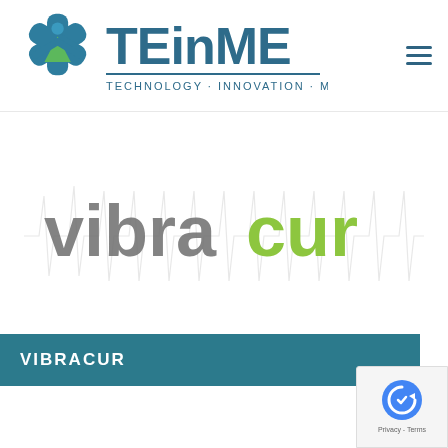[Figure (logo): TEinME logo with blue medical star and person figure, text reads TEinME with tagline TECHNOLOGY · INNOVATION · MEDICINE]
[Figure (logo): Vibracur logo in gray and green with ECG/heartbeat waveform pattern in background]
VIBRACUR